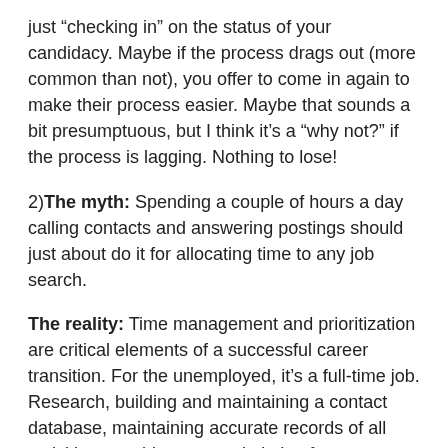just “checking in” on the status of your candidacy. Maybe if the process drags out (more common than not), you offer to come in again to make their process easier. Maybe that sounds a bit presumptuous, but I think it’s a “why not?” if the process is lagging. Nothing to lose!
2) The myth: Spending a couple of hours a day calling contacts and answering postings should just about do it for allocating time to any job search.
The reality: Time management and prioritization are critical elements of a successful career transition. For the unemployed, it’s a full-time job. Research, building and maintaining a contact database, maintaining accurate records of all activities, reaching out, and aiming for as many as five live meetings a week should create an extremely busy schedule. A truly proactive search is time-consuming.
For employed people, it’s tougher. I highly recommend a